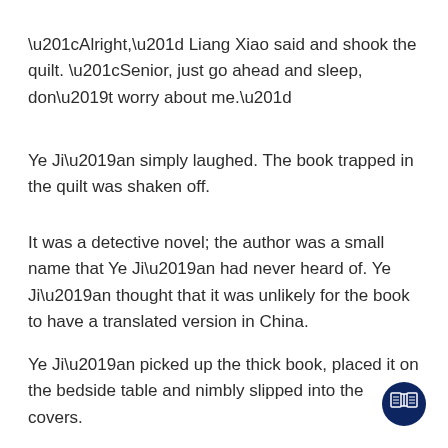“Alright,” Liang Xiao said and shook the quilt. “Senior, just go ahead and sleep, don’t worry about me.”
Ye Ji’an simply laughed. The book trapped in the quilt was shaken off.
It was a detective novel; the author was a small name that Ye Ji’an had never heard of. Ye Ji’an thought that it was unlikely for the book to have a translated version in China.
Ye Ji’an picked up the thick book, placed it on the bedside table and nimbly slipped into the covers.